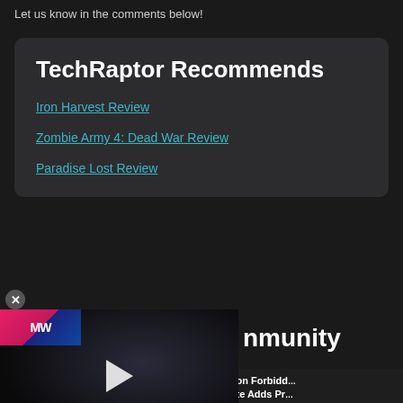Let us know in the comments below!
TechRaptor Recommends
Iron Harvest Review
Zombie Army 4: Dead War Review
Paradise Lost Review
[Figure (screenshot): Video advertisement overlay for Next Movies showing 'EMBRACER GROUP BUY LOTR RIGHTS' with play button and MW logo, overlaid on a dark background with a face silhouette]
nmunity
Steamforged Games Announces Dark Souls Boar...
Horizon Forbidd... Update Adds Pr...